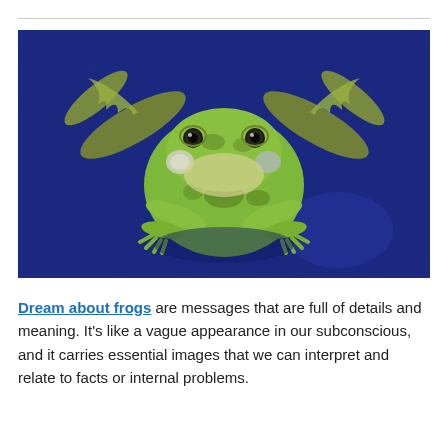[Figure (photo): A green frog with spotted markings sitting on a deep blue surface, viewed from above with legs spread outward. The frog is facing the camera with visible vocal sacs on the sides of its mouth.]
Dream about frogs are messages that are full of details and meaning. It's like a vague appearance in our subconscious, and it carries essential images that we can interpret and relate to facts or internal problems.